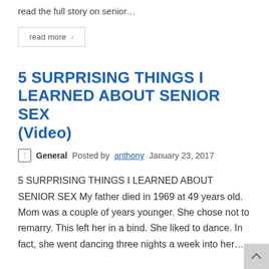read the full story on senior…
read more >
5 SURPRISING THINGS I LEARNED ABOUT SENIOR SEX (Video)
General   Posted by anthony   January 23, 2017
5 SURPRISING THINGS I LEARNED ABOUT SENIOR SEX My father died in 1969 at 49 years old. Mom was a couple of years younger. She chose not to remarry. This left her in a bind. She liked to dance. In fact, she went dancing three nights a week into her…